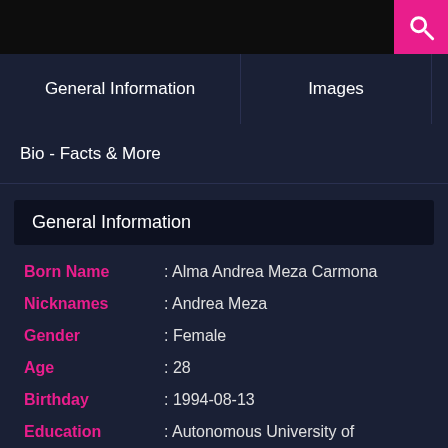General Information
Images
Bio - Facts & More
General Information
| Field | Value |
| --- | --- |
| Born Name | : Alma Andrea Meza Carmona |
| Nicknames | : Andrea Meza |
| Gender | : Female |
| Age | : 28 |
| Birthday | : 1994-08-13 |
| Education | : Autonomous University of |